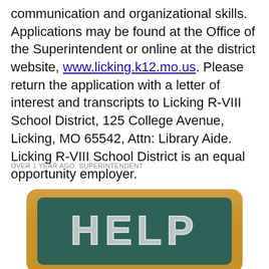communication and organizational skills. Applications may be found at the Office of the Superintendent or online at the district website, www.licking.k12.mo.us. Please return the application with a letter of interest and transcripts to Licking R-VIII School District, 125 College Avenue, Licking, MO 65542, Attn: Library Aide. Licking R-VIII School District is an equal opportunity employer.
OVER 1 YEAR AGO, SUPERINTENDENT
[Figure (illustration): A chalkboard illustration with a wooden frame showing the word HELP written in chalk-style white letters on a dark teal background.]